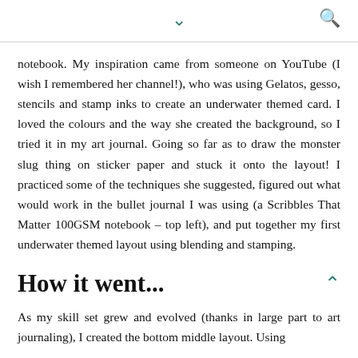▾ 🔍
notebook. My inspiration came from someone on YouTube (I wish I remembered her channel!), who was using Gelatos, gesso, stencils and stamp inks to create an underwater themed card. I loved the colours and the way she created the background, so I tried it in my art journal. Going so far as to draw the monster slug thing on sticker paper and stuck it onto the layout! I practiced some of the techniques she suggested, figured out what would work in the bullet journal I was using (a Scribbles That Matter 100GSM notebook – top left), and put together my first underwater themed layout using blending and stamping.
How it went...
As my skill set grew and evolved (thanks in large part to art journaling), I created the bottom middle layout. Using